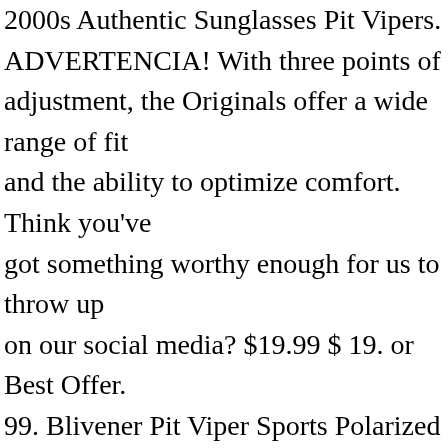2000s Authentic Sunglasses Pit Vipers. ADVERTENCIA! With three points of adjustment, the Originals offer a wide range of fit and the ability to optimize comfort. Think you've got something worthy enough for us to throw up on our social media? $19.99 $ 19. or Best Offer. 99. Blivener Pit Viper Sports Polarized Sunglasses for Men Women Outdoor Windproof Eyewear Uv Protection. Nah, just life, liberty, & the pursuit of happiness. Pit Vipers . Jun 22, 2020 - Is that the pizza? Al comprar el 1993 en este momento, el clic